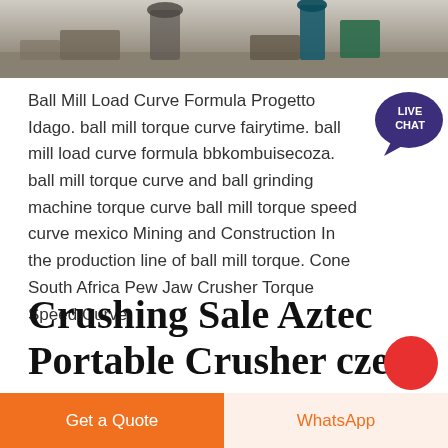[Figure (photo): Industrial machinery/ball mill equipment photo strip at top of page]
Ball Mill Load Curve Formula Progetto Idago. ball mill torque curve fairytime. ball mill load curve formula bbkombuisecoza. ball mill torque curve and ball grinding machine torque curve ball mill torque speed curve mexico Mining and Construction In the production line of ball mill torque. Cone South Africa Pew Jaw Crusher Torque Speed Curve
Crushing Sale Aztec Portable Crusher czeu